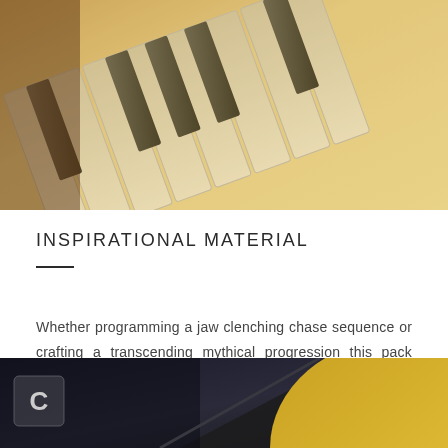[Figure (photo): Close-up photo of piano keys with warm yellow/golden tone overlay, angled perspective showing black and white keys]
INSPIRATIONAL MATERIAL
Whether programming a jaw clenching chase sequence or crafting a transcending mythical progression this pack guarantees to set you apart from the crowd, ensuring your audience remains deeply engaged and inspired.
[Figure (photo): Dark themed image with yellow/gold curved shape and a small square icon with letter C in bottom left corner]